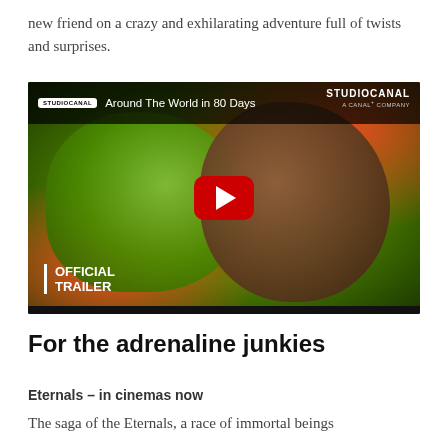new friend on a crazy and exhilarating adventure full of twists and surprises.
[Figure (screenshot): YouTube video thumbnail for 'Around The World in 80 Days' official trailer by StudioCanal. Shows two animated characters — a green lizard-like creature and a monkey wearing a hat — in a colorful scene. A red YouTube play button is centered over the image. Text 'OFFICIAL TRAILER' appears in the lower left with a white vertical bar. The StudioCanal logo and 'A CANAL+ COMPANY' text appear in the upper right.]
For the adrenaline junkies
Eternals – in cinemas now
The saga of the Eternals, a race of immortal beings